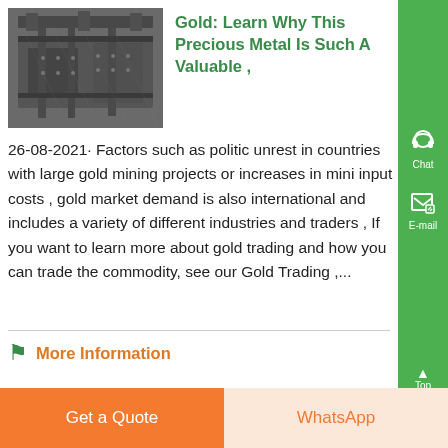[Figure (photo): Industrial metalworking machinery, showing large metal press or stamping machine structure in a factory setting, dark grey steel construction.]
Gold: Learn Why This Precious Metal Is Such A Valuable ,
26-08-2021· Factors such as political unrest in countries with large gold mining projects or increases in mining input costs , gold market demand is also international and includes a variety of different industries and traders , If you want to learn more about gold trading and how you can trade the commodity, see our Gold Trading ,...
More Information
Get a Quote
WhatsApp